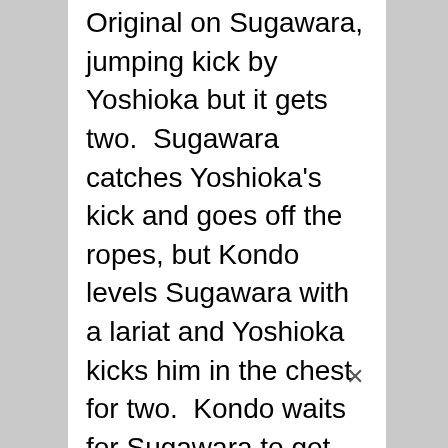Original on Sugawara, jumping kick by Yoshioka but it gets two.  Sugawara catches Yoshioka's kick and goes off the ropes, but Kondo levels Sugawara with a lariat and Yoshioka kicks him in the chest for two.  Kondo waits for Sugawara to get up but YASSHI cuts him off, Yoshioka goes off the ropes and he hits La Mistica on Sugawara followed by a roll-up for a two count.  Yoshioka goes off the ropes but Sugawara avoids the sliding kick.  Lariat by Sugawara and he hits one on Kondo as well.  Kondo falls out of the ring and YASSHI sails out onto him with a tope suicida.  Lariat by Sugawara to Yoshioka,